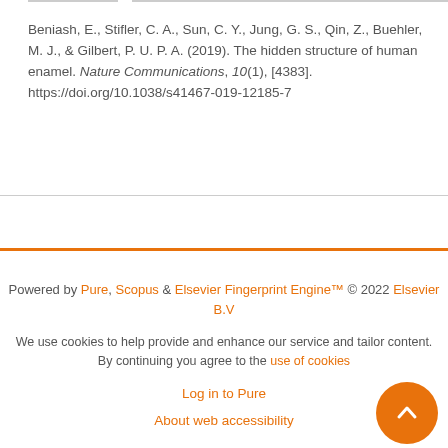Beniash, E., Stifler, C. A., Sun, C. Y., Jung, G. S., Qin, Z., Buehler, M. J., & Gilbert, P. U. P. A. (2019). The hidden structure of human enamel. Nature Communications, 10(1), [4383]. https://doi.org/10.1038/s41467-019-12185-7
Powered by Pure, Scopus & Elsevier Fingerprint Engine™ © 2022 Elsevier B.V
We use cookies to help provide and enhance our service and tailor content. By continuing you agree to the use of cookies
Log in to Pure
About web accessibility